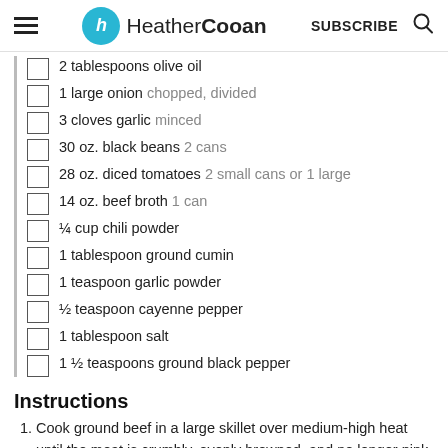HeatherCooan | SUBSCRIBE
2 tablespoons olive oil
1 large onion chopped, divided
3 cloves garlic minced
30 oz. black beans 2 cans
28 oz. diced tomatoes 2 small cans or 1 large
14 oz. beef broth 1 can
¼ cup chili powder
1 tablespoon ground cumin
1 teaspoon garlic powder
½ teaspoon cayenne pepper
1 tablespoon salt
1 ½ teaspoons ground black pepper
Instructions
Cook ground beef in a large skillet over medium-high heat until the meat is crumbly, evenly browned, and no longer pink. Drain and discard any excess